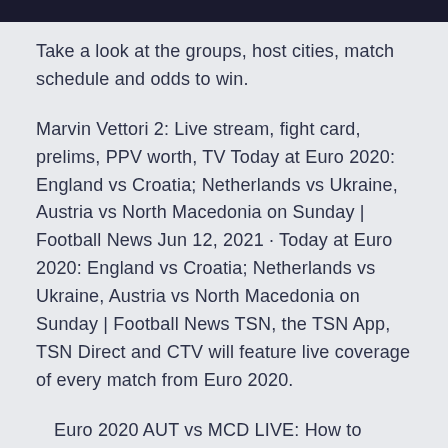Take a look at the groups, host cities, match schedule and odds to win.
Marvin Vettori 2: Live stream, fight card, prelims, PPV worth, TV Today at Euro 2020: England vs Croatia; Netherlands vs Ukraine, Austria vs North Macedonia on Sunday | Football News Jun 12, 2021 · Today at Euro 2020: England vs Croatia; Netherlands vs Ukraine, Austria vs North Macedonia on Sunday | Football News TSN, the TSN App, TSN Direct and CTV will feature live coverage of every match from Euro 2020.
Euro 2020 AUT vs MCD LIVE: How to watch Austria vs North Macedonia LIVE watch Austria vs North Macedonia LIVE streaming in your country, India –